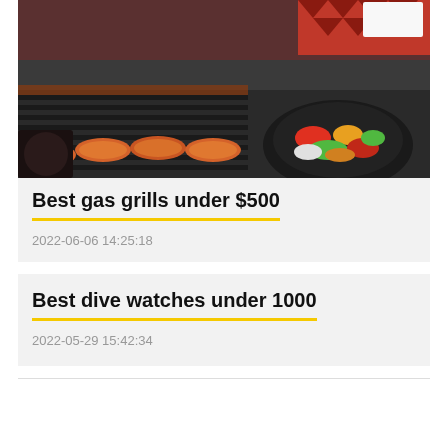[Figure (photo): Photo of a gas grill with sausages and vegetables cooking on grill grates, with glowing red heat visible in the background]
Best gas grills under $500
2022-06-06 14:25:18
Best dive watches under 1000
2022-05-29 15:42:34